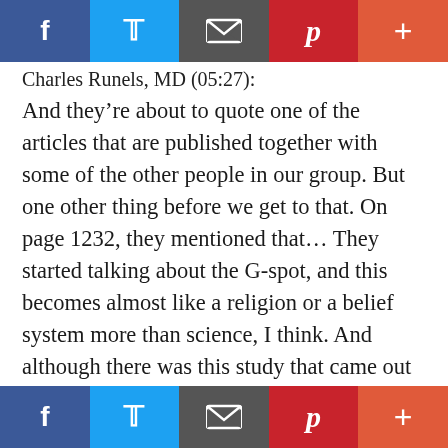Social share toolbar: Facebook, Twitter, Email, Pinterest, Plus
Charles Runels, MD (05:27):
And they're about to quote one of the articles that are published together with some of the other people in our group. But one other thing before we get to that. On page 1232, they mentioned that… They started talking about the G-spot, and this becomes almost like a religion or a belief system more than science, I think. And although there was this study that came out in… Where this fellow, I can't say his name. I met him. Really nice guy, at one of the [inaudible 00:04:04] courses, he did a series of dissections on cadavers and totally dissected
Social share toolbar: Facebook, Twitter, Email, Pinterest, Plus